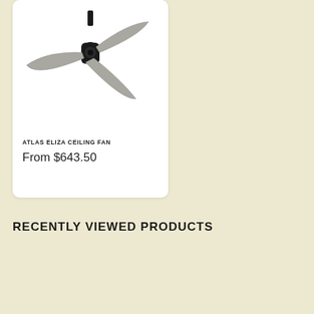[Figure (photo): Atlas Eliza ceiling fan with black motor housing and three grey/silver blades on white background]
ATLAS ELIZA CEILING FAN
From $643.50
RECENTLY VIEWED PRODUCTS